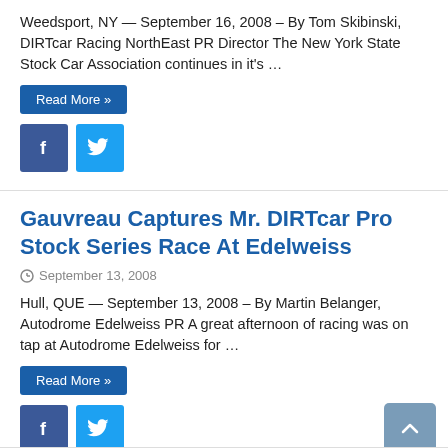Weedsport, NY — September 16, 2008 – By Tom Skibinski, DIRTcar Racing NorthEast PR Director The New York State Stock Car Association continues in it's …
Read More »
Gauvreau Captures Mr. DIRTcar Pro Stock Series Race At Edelweiss
September 13, 2008
Hull, QUE — September 13, 2008 – By Martin Belanger, Autodrome Edelweiss PR A great afternoon of racing was on tap at Autodrome Edelweiss for …
Read More »